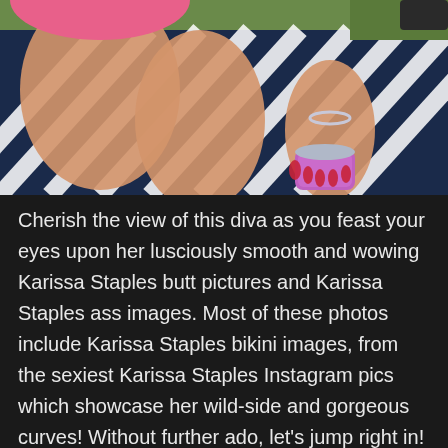[Figure (photo): A woman sitting on a navy and white striped blanket outdoors on grass, wearing a pink outfit, holding a pink/purple glittery cup with red manicured nails, wearing a bracelet. Only her torso, arms, and legs are visible.]
Cherish the view of this diva as you feast your eyes upon her lusciously smooth and wowing Karissa Staples butt pictures and Karissa Staples ass images. Most of these photos include Karissa Staples bikini images, from the sexiest Karissa Staples Instagram pics which showcase her wild-side and gorgeous curves! Without further ado, let's jump right in!